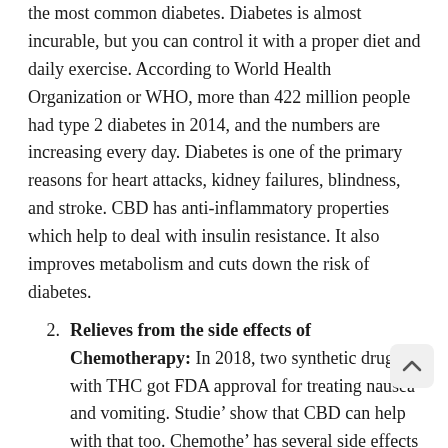the most common diabetes. Diabetes is almost incurable, but you can control it with a proper diet and daily exercise. According to World Health Organization or WHO, more than 422 million people had type 2 diabetes in 2014, and the numbers are increasing every day. Diabetes is one of the primary reasons for heart attacks, kidney failures, blindness, and stroke. CBD has anti-inflammatory properties which help to deal with insulin resistance. It also improves metabolism and cuts down the risk of diabetes.
Relieves from the side effects of Chemotherapy: In 2018, two synthetic drugs with THC got FDA approval for treating nausea and vomiting. Studies show that CBD can help with that too. Chemotherapy has several side effects like pain, inflammation, stress, nausea, and many more. CBD is credited for